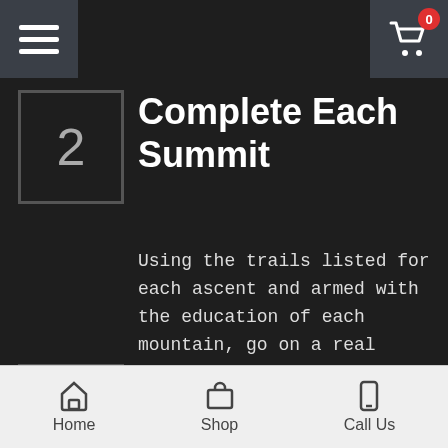Navigation bar with hamburger menu and shopping cart (0 items)
Complete Each Summit
Using the trails listed for each ascent and armed with the education of each mountain, go on a real desert adventure. Please review each map to find the trails to use and review the safety information.
Submit Your Photos
Home | Shop | Call Us